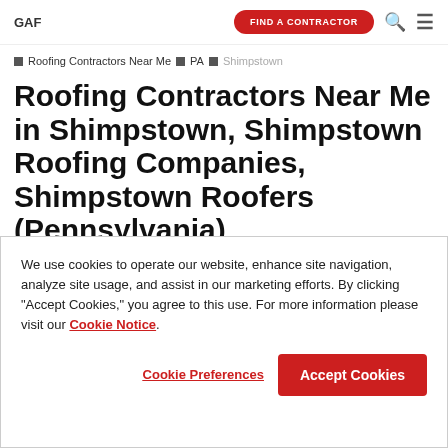GAF | FIND A CONTRACTOR
Roofing Contractors Near Me › PA › Shimpstown
Roofing Contractors Near Me in Shimpstown, Shimpstown Roofing Companies, Shimpstown Roofers (Pennsylvania)
We use cookies to operate our website, enhance site navigation, analyze site usage, and assist in our marketing efforts. By clicking "Accept Cookies," you agree to this use. For more information please visit our Cookie Notice.
Cookie Preferences | Accept Cookies